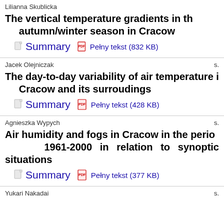Lilianna Skublicka
The vertical temperature gradients in the autumn/winter season in Cracow
Summary | Pełny tekst (832 KB)
Jacek Olejniczak
The day-to-day variability of air temperature in Cracow and its surroudings
Summary | Pełny tekst (428 KB)
Agnieszka Wypych
Air humidity and fogs in Cracow in the period 1961-2000 in relation to synoptic situations
Summary | Pełny tekst (377 KB)
Yukari Nakadai